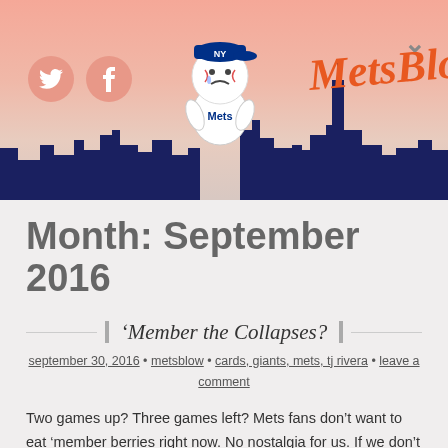[Figure (illustration): MetsBlow blog header banner with salmon/peach gradient background, Twitter and Facebook circle icons on left, a cartoon crying Mets mascot character, 'MetsBlow' script logo in orange, New York City skyline silhouette in dark blue, and a chevron/dropdown arrow on the right]
Month: September 2016
'Member the Collapses?
september 30, 2016 • metsblow • cards, giants, mets, tj rivera • leave a comment
Two games up? Three games left? Mets fans don't want to eat 'member berries right now. No nostalgia for us. If we don't make the (stupid one-game) postseason, it will be considered a big, FAT collapse. The Phillies blow.